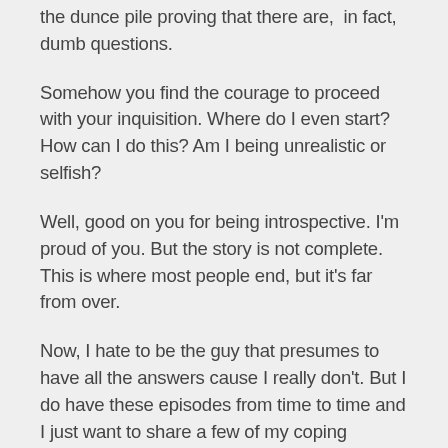the dunce pile proving that there are,  in fact, dumb questions.
Somehow you find the courage to proceed with your inquisition. Where do I even start? How can I do this? Am I being unrealistic or selfish?
Well, good on you for being introspective. I'm proud of you. But the story is not complete. This is where most people end, but it's far from over.
Now, I hate to be the guy that presumes to have all the answers cause I really don't. But I do have these episodes from time to time and I just want to share a few of my coping strategies. I'm not going to give them all away, though. For that, you have to hire me as your